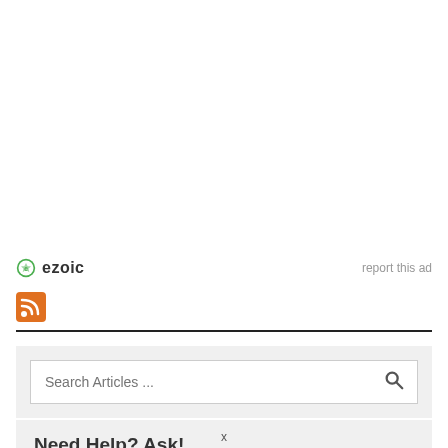[Figure (logo): Ezoic logo with green circular badge and 'ezoic' text in bold]
report this ad
[Figure (logo): RSS feed orange icon]
Search Articles ...
Need Help? Ask!